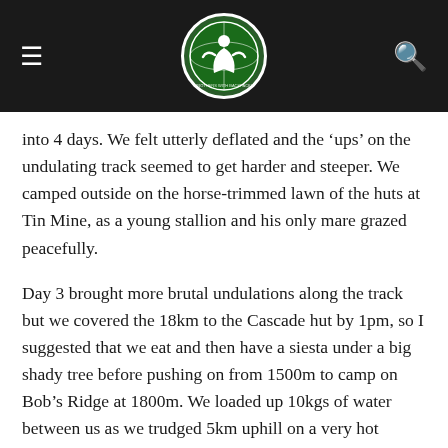≡  [logo]  🔍
into 4 days. We felt utterly deflated and the 'ups' on the undulating track seemed to get harder and steeper. We camped outside on the horse-trimmed lawn of the huts at Tin Mine, as a young stallion and his only mare grazed peacefully.
Day 3 brought more brutal undulations along the track but we covered the 18km to the Cascade hut by 1pm, so I suggested that we eat and then have a siesta under a big shady tree before pushing on from 1500m to camp on Bob's Ridge at 1800m. We loaded up 10kgs of water between us as we trudged 5km uphill on a very hot afternoon. About 10 vertical metres from the summit, a cool mountain stream babbled out of a marsh about the size of a football field! Walking can be so cruel! Just as we were lying down recovering and trying to find an ant-free tent spot, a mountain biker came along and talked us into walking